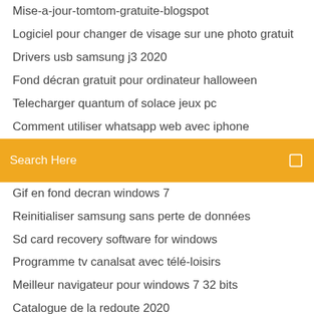Mise-a-jour-tomtom-gratuite-blogspot
Logiciel pour changer de visage sur une photo gratuit
Drivers usb samsung j3 2020
Fond décran gratuit pour ordinateur halloween
Telecharger quantum of solace jeux pc
Comment utiliser whatsapp web avec iphone
[Figure (screenshot): Orange search bar with white text 'Search Here' and a search icon on the right]
Gif en fond decran windows 7
Reinitialiser samsung sans perte de données
Sd card recovery software for windows
Programme tv canalsat avec télé-loisirs
Meilleur navigateur pour windows 7 32 bits
Catalogue de la redoute 2020
Wsop world series of poker 2020
Telecharger football manager 2020 gratuit complet pc
Télécharger skype for windows 10 not from store
Scrap mechanic jeux xbox one
Optimisation site web pour ordinateur